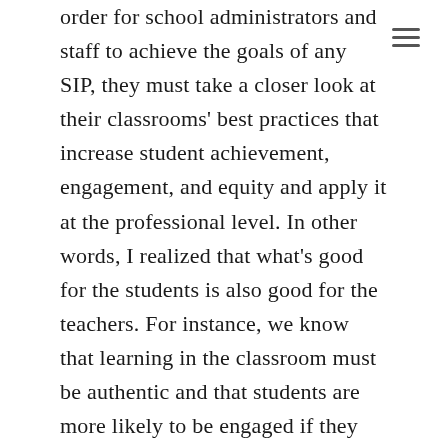order for school administrators and staff to achieve the goals of any SIP, they must take a closer look at their classrooms' best practices that increase student achievement, engagement, and equity and apply it at the professional level. In other words, I realized that what's good for the students is also good for the teachers. For instance, we know that learning in the classroom must be authentic and that students are more likely to be engaged if they are active participants in their own learning. This same thinking can be applied to the development of a SIP which must also be authentic to staff and parents in order to be a living document. It cannot be perceived to be a top-down initiative or a model replicated from another school. Additionally, if we know from research and teaching experience that